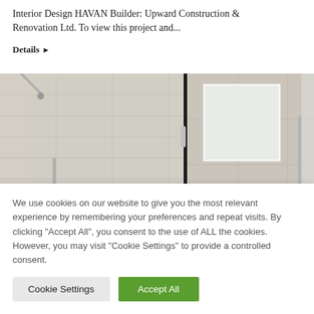Interior Design HAVAN Builder: Upward Construction & Renovation Ltd. To view this project and...
Details ▶
[Figure (photo): Bathroom interior with glass shower enclosure, chrome fixtures, white rectangular mirror on grey-beige tiled wall, and frosted glass panel on the right.]
We use cookies on our website to give you the most relevant experience by remembering your preferences and repeat visits. By clicking "Accept All", you consent to the use of ALL the cookies. However, you may visit "Cookie Settings" to provide a controlled consent.